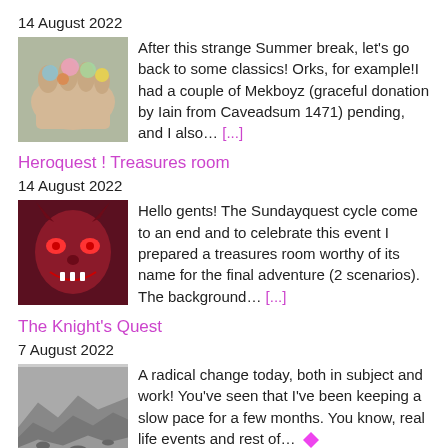14 August 2022
[Figure (photo): Hand holding small painted miniature figures]
After this strange Summer break, let's go back to some classics! Orks, for example!I had a couple of Mekboyz (graceful donation by Iain from Caveadsum 1471) pending, and I also... [...]
Heroquest ! Treasures room
14 August 2022
[Figure (photo): Red demon/monster face miniature painting]
Hello gents! The Sundayquest cycle come to an end and to celebrate this event I prepared a treasures room worthy of its name for the final adventure (2 scenarios). The background... [...]
The Knight's Quest
7 August 2022
[Figure (photo): Grayscale landscape/terrain miniature scene]
A radical change today, both in subject and work! You've seen that I've been keeping a slow pace for a few months. You know, real life events and rest of...